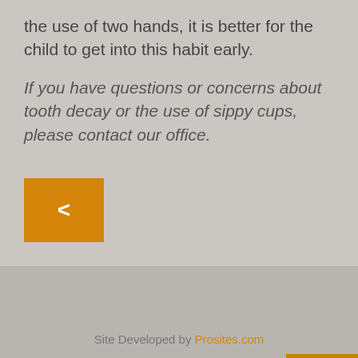the use of two hands, it is better for the child to get into this habit early.
If you have questions or concerns about tooth decay or the use of sippy cups, please contact our office.
Site Developed by Prosites.com